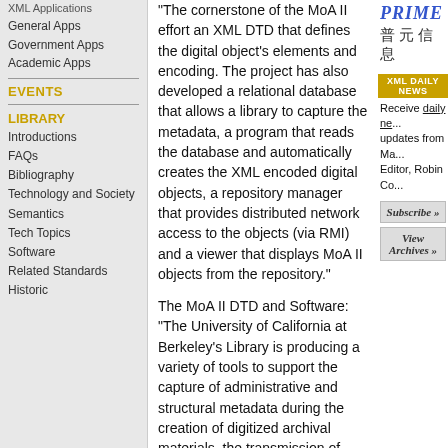XML Applications
General Apps
Government Apps
Academic Apps
EVENTS
LIBRARY
Introductions
FAQs
Bibliography
Technology and Society
Semantics
Tech Topics
Software
Related Standards
Historic
"The cornerstone of the MoA II effort an XML DTD that defines the digital object's elements and encoding. The project has also developed a relational database that allows a library to capture the metadata, a program that reads the database and automatically creates the XML encoded digital objects, a repository manager that provides distributed network access to the objects (via RMI) and a viewer that displays MoA II objects from the repository."
The MoA II DTD and Software: "The University of California at Berkeley's Library is producing a variety of tools to support the capture of administrative and structural metadata during the creation of digitized archival materials, the transmission of administrative and structural metadata regarding such
[Figure (logo): PRIME logo in blue italic bold text followed by Chinese characters]
XML DAILY NEWS
Receive daily ne... updates from Ma... Editor, Robin Co...
Subscribe >>
View Archives >>